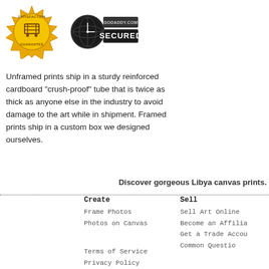[Figure (logo): Satisfaction Guarantee badge - gold medallion with shopping cart icon]
[Figure (logo): GoDaddy.com Secured badge - globe/lock icon with SECURED text]
Unframed prints ship in a sturdy reinforced cardboard "crush-proof" tube that is twice as thick as anyone else in the industry to avoid damage to the art while in shipment. Framed prints ship in a custom box we designed ourselves.
Discover gorgeous Libya canvas prints.
Create
Frame Photos
Photos on Canvas
Sell
Sell Art Online
Become an Affilia
Get a Trade Accou
Common Questio
Terms of Service
Privacy Policy
Copyright © 2022